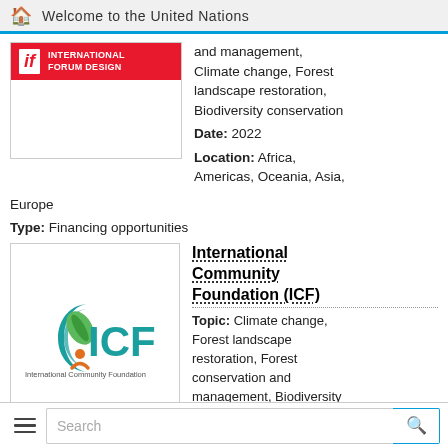Welcome to the United Nations
and management, Climate change, Forest landscape restoration, Biodiversity conservation
Date: 2022
Location: Africa, Americas, Oceania, Asia, Europe
Type: Financing opportunities
[Figure (logo): iF International Forum Design red logo with white badge showing 'if' text]
International Community Foundation (ICF)
Topic: Climate change, Forest landscape restoration, Forest conservation and management, Biodiversity conservation
[Figure (logo): International Community Foundation (ICF) logo with teal ICF letters and green/orange circular leaf emblem, text 'International Community Foundation' below]
Search